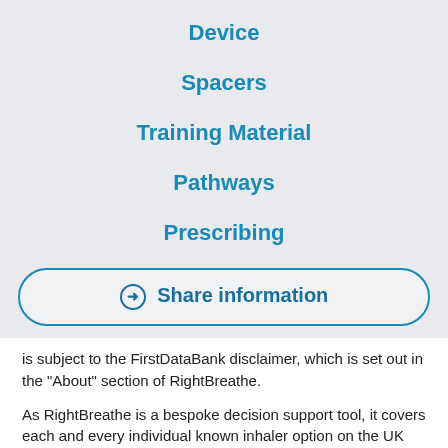Device
Spacers
Training Material
Pathways
Prescribing
➔ Share information
is subject to the FirstDataBank disclaimer, which is set out in the "About" section of RightBreathe.
As RightBreathe is a bespoke decision support tool, it covers each and every individual known inhaler option on the UK market to a high level of specificity. Multilex, as a more general resource, does not offer the same level of